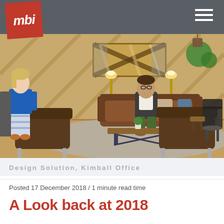mbi
[Figure (photo): Interior office lounge scene with two brown leather swivel chairs in the foreground, a man in a suit sitting on a brown leather sofa in the center, a woman in a blue top and striped skirt standing to the left, a wooden X-pattern wall art piece behind the sofa, ambient pendant and floor lamps, and lush green hanging plants in the upper right.]
Design Solution, Kimball Office
Posted 17 December 2018 / 1 minute read time
A Look back at 2018